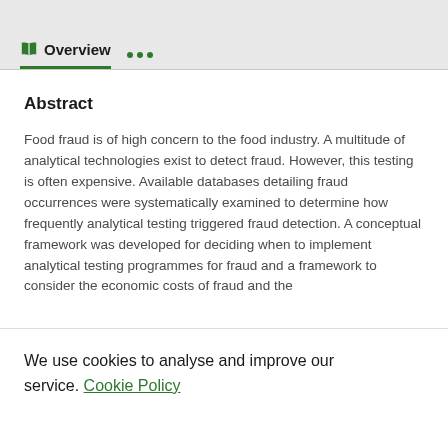Overview
Abstract
Food fraud is of high concern to the food industry. A multitude of analytical technologies exist to detect fraud. However, this testing is often expensive. Available databases detailing fraud occurrences were systematically examined to determine how frequently analytical testing triggered fraud detection. A conceptual framework was developed for deciding when to implement analytical testing programmes for fraud and a framework to consider the economic costs of fraud and the
We use cookies to analyse and improve our service. Cookie Policy